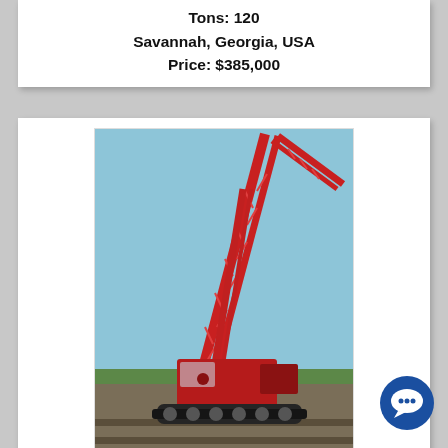Tons: 120
Savannah, Georgia, USA
Price: $385,000
[Figure (photo): Red crawler crane (Manitowoc 555 Series 2) photographed against a blue sky with trees in the background]
Year: 2003
Manufacturer: Manitowoc
Model: 555 Series 2
Tons: 150
Chelmsford, Massachusetts, USA
Price: $360,000
[Figure (photo): Red crawler crane photographed in an open field against a light blue sky]